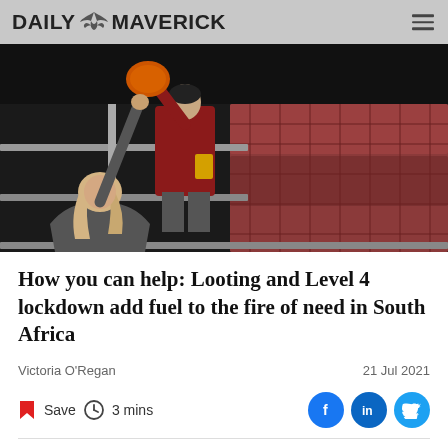DAILY MAVERICK
[Figure (photo): A person on the ground reaching up to receive a bag of onions/vegetables from someone standing on a truck loaded with mesh bags of produce. Night scene, dark background.]
How you can help: Looting and Level 4 lockdown add fuel to the fire of need in South Africa
Victoria O'Regan
21 Jul 2021
Save  3 mins